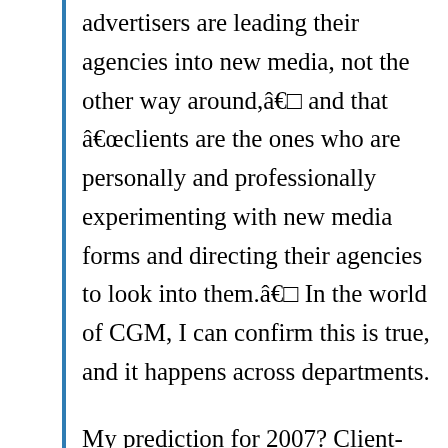advertisers are leading their agencies into new media, not the other way around,â€  and that â€œclients are the ones who are personally and professionally experimenting with new media forms and directing their agencies to look into them.â€  In the world of CGM, I can confirm this is true, and it happens across departments.
My prediction for 2007? Client-side marketers will continue to lead, though